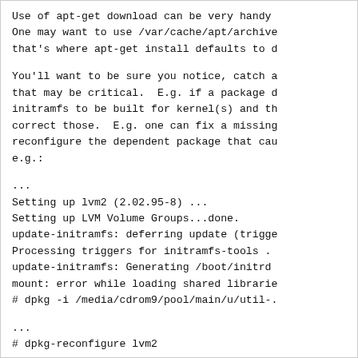Use of apt-get download can be very handy
One may want to use /var/cache/apt/archive
that's where apt-get install defaults to d
You'll want to be sure you notice, catch a
that may be critical.  E.g. if a package d
initramfs to be built for kernel(s) and th
correct those.  E.g. one can fix a missing
reconfigure the dependent package that cau
e.g.:
...
Setting up lvm2 (2.02.95-8) ...
Setting up LVM Volume Groups...done.
update-initramfs: deferring update (trigge
Processing triggers for initramfs-tools .
update-initramfs: Generating /boot/initrd
mount: error while loading shared librarie
# dpkg -i /media/cdrom9/pool/main/u/util-.
...
# dpkg-reconfigure lvm2